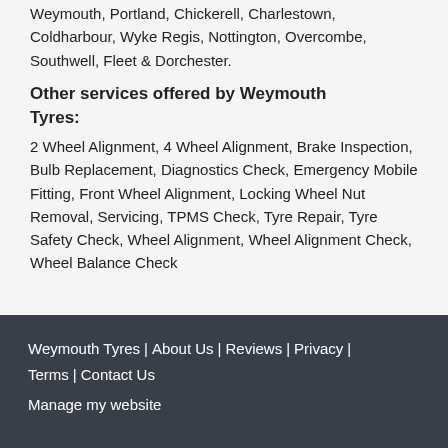Weymouth, Portland, Chickerell, Charlestown, Coldharbour, Wyke Regis, Nottington, Overcombe, Southwell, Fleet & Dorchester.
Other services offered by Weymouth Tyres:
2 Wheel Alignment, 4 Wheel Alignment, Brake Inspection, Bulb Replacement, Diagnostics Check, Emergency Mobile Fitting, Front Wheel Alignment, Locking Wheel Nut Removal, Servicing, TPMS Check, Tyre Repair, Tyre Safety Check, Wheel Alignment, Wheel Alignment Check, Wheel Balance Check
Weymouth Tyres | About Us | Reviews | Privacy | Terms | Contact Us
Manage my website